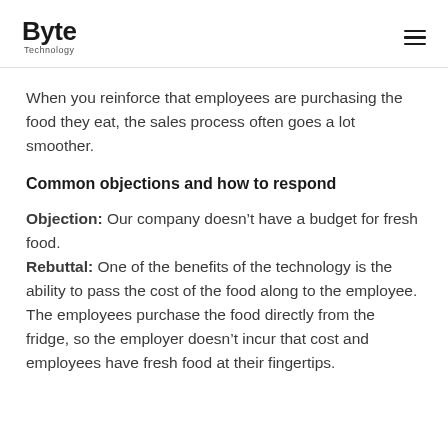Byte Technology
When you reinforce that employees are purchasing the food they eat, the sales process often goes a lot smoother.
Common objections and how to respond
Objection: Our company doesn't have a budget for fresh food.
Rebuttal: One of the benefits of the technology is the ability to pass the cost of the food along to the employee. The employees purchase the food directly from the fridge, so the employer doesn't incur that cost and employees have fresh food at their fingertips.